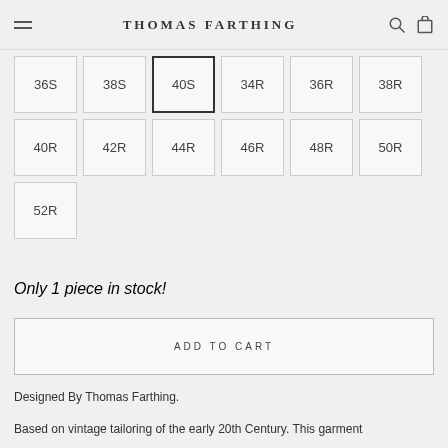THOMAS FARTHING
36S
38S
40S (selected)
34R
36R
38R
40R
42R
44R
46R
48R
50R
52R
Only 1 piece in stock!
ADD TO CART
Designed By Thomas Farthing.
Based on vintage tailoring of the early 20th Century. This garment